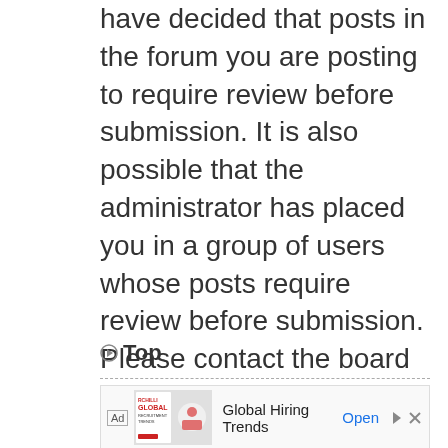The board administrator may have decided that posts in the forum you are posting to require review before submission. It is also possible that the administrator has placed you in a group of users whose posts require review before submission. Please contact the board administrator for further details.
Top
[Figure (other): Advertisement banner for Global Hiring Trends by RCHilli showing recruitment trends brochure image]